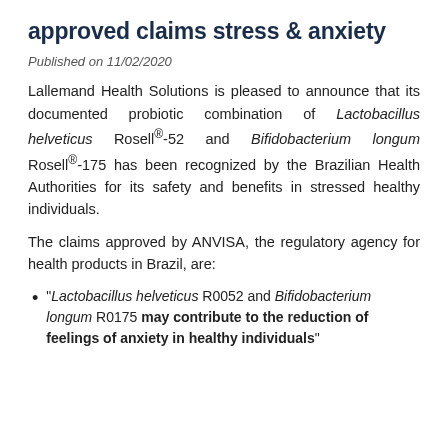approved claims stress & anxiety
Published on 11/02/2020
Lallemand Health Solutions is pleased to announce that its documented probiotic combination of Lactobacillus helveticus Rosell®-52 and Bifidobacterium longum Rosell®-175 has been recognized by the Brazilian Health Authorities for its safety and benefits in stressed healthy individuals.
The claims approved by ANVISA, the regulatory agency for health products in Brazil, are:
"Lactobacillus helveticus R0052 and Bifidobacterium longum R0175 may contribute to the reduction of feelings of anxiety in healthy individuals"